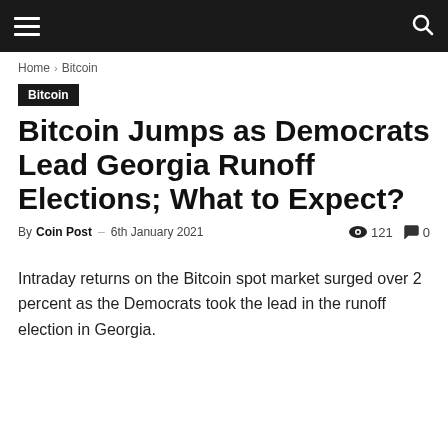Navigation bar with hamburger menu and search icon
Home › Bitcoin
Bitcoin
Bitcoin Jumps as Democrats Lead Georgia Runoff Elections; What to Expect?
By Coin Post – 6th January 2021  121  0
Intraday returns on the Bitcoin spot market surged over 2 percent as the Democrats took the lead in the runoff election in Georgia.